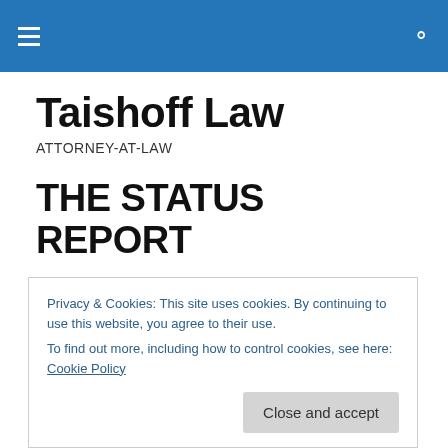Taishoff Law — navigation bar with hamburger menu and search icon
Taishoff Law
ATTORNEY-AT-LAW
THE STATUS REPORT
It's one of the very few things you can fax to Tax Court. It's probably The Glasshouse's most-filed document. Crafty
Privacy & Cookies: This site uses cookies. By continuing to use this website, you agree to their use.
To find out more, including how to control cookies, see here: Cookie Policy